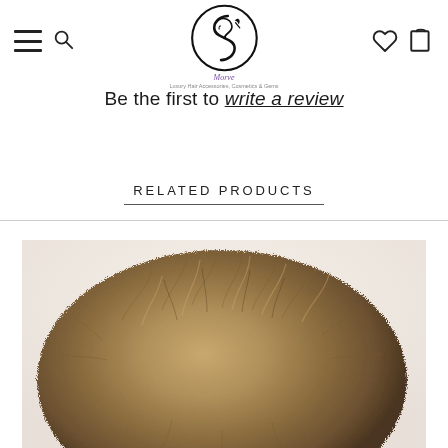Navigation header with hamburger menu, search icon, logo (Morve - Luxury Hair Accessories, Cosmetics & Gems), heart icon, and cart icon
Be the first to write a review
RELATED PRODUCTS
[Figure (photo): Close-up photo of a fluffy brown/tan fur pom-pom or fur accessory, showing soft natural fur texture]